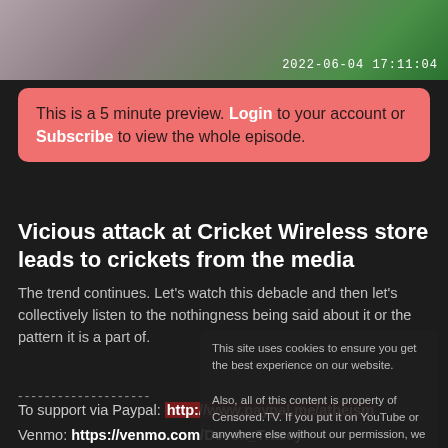[Figure (photo): Top banner image showing people, blurred/partial, with timestamp 2022-06-04 17:11:04 in bottom right]
This is a 5 minute preview. Login to your account or Subscribe to view the whole episode.
Vicious attack at Cricket Wireless store leads to crickets from the media
The trend continues. Let's watch this debacle and then let's collectively listen to the nothingness being said about it or the pattern it is a part of.
--------------------
This site uses cookies to ensure you get the best experience on our website. Also, all of this content is property of Censored.TV. If you put it on YouTube or anywhere else without our permission, we will get it taken down. Learn more
To support via Paypal: http://www.paypal.me/atheism
Venmo: https://venmo.com/Devon_Tracey
CashApp: $AtheistRoo